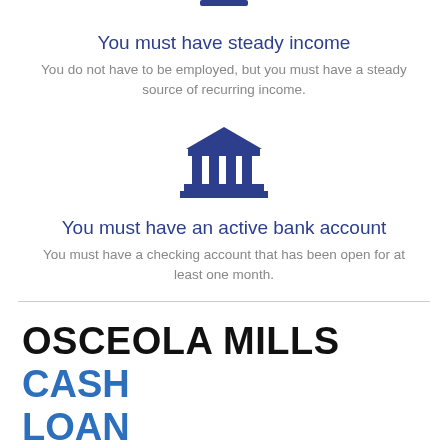[Figure (illustration): Dark navy blue icon of a person with arrows indicating income/money flow, partially visible at top of page]
You must have steady income
You do not have to be employed, but you must have a steady source of recurring income.
[Figure (illustration): Dark navy blue icon of a classical bank building with columns and a triangular roof]
You must have an active bank account
You must have a checking account that has been open for at least one month.
OSCEOLA MILLS CASH LOAN